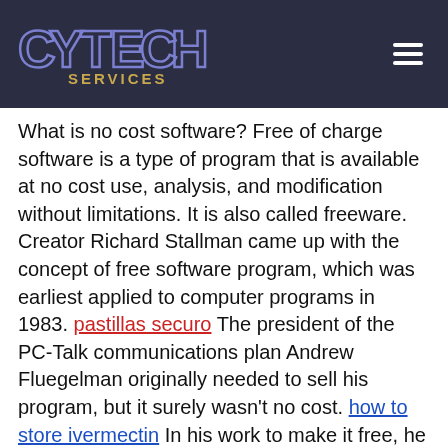CyTech Services
What is no cost software? Free of charge software is a type of program that is available at no cost use, analysis, and modification without limitations. It is also called freeware. Creator Richard Stallman came up with the concept of free software program, which was earliest applied to computer programs in 1983. pastillas securo The president of the PC-Talk communications plan Andrew Fluegelman originally needed to sell his program, but it surely wasn't no cost. how to store ivermectin In his work to make it free, he put his copyright in the name of your software. A lot of free of charge software is free to use since it can be customized to meet specific needs. It is also customized to do common duties. Free software program developers don't charge with regard to their software, nonetheless they do make profit other ways. Users can make donations to support the developer and can also place advertisements on